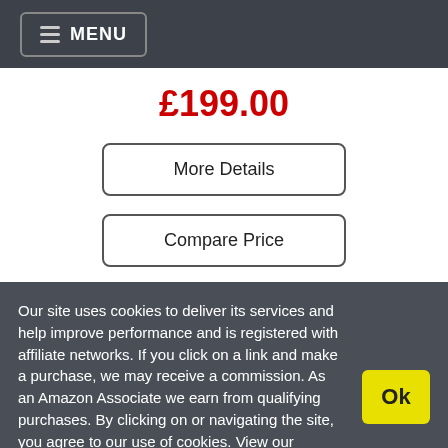MENU
£199.00
More Details
Compare Price
Our site uses cookies to deliver its services and help improve performance and is registered with affiliate networks. If you click on a link and make a purchase, we may receive a commission. As an Amazon Associate we earn from qualifying purchases. By clicking on or navigating the site, you agree to our use of cookies. View our Cookie Policy and Affiliate Disclosure